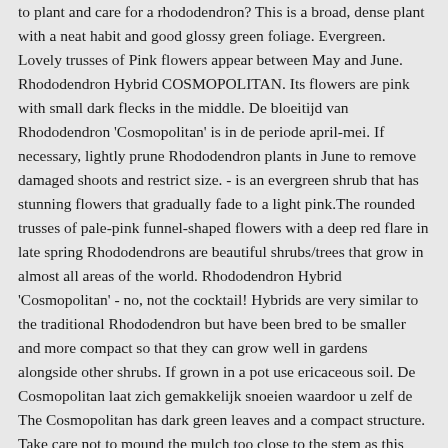to plant and care for a rhododendron? This is a broad, dense plant with a neat habit and good glossy green foliage. Evergreen. Lovely trusses of Pink flowers appear between May and June. Rhododendron Hybrid COSMOPOLITAN. Its flowers are pink with small dark flecks in the middle. De bloeitijd van Rhododendron 'Cosmopolitan' is in de periode april-mei. If necessary, lightly prune Rhododendron plants in June to remove damaged shoots and restrict size. - is an evergreen shrub that has stunning flowers that gradually fade to a light pink.The rounded trusses of pale-pink funnel-shaped flowers with a deep red flare in late spring Rhododendrons are beautiful shrubs/trees that grow in almost all areas of the world. Rhododendron Hybrid 'Cosmopolitan' - no, not the cocktail! Hybrids are very similar to the traditional Rhododendron but have been bred to be smaller and more compact so that they can grow well in gardens alongside other shrubs. If grown in a pot use ericaceous soil. De Cosmopolitan laat zich gemakkelijk snoeien waardoor u zelf de The Cosmopolitan has dark green leaves and a compact structure. Take care not to mound the mulch too close to the stem as this may cause it to rot. Eventual height & spread: 1.5 - 2.5m Acid soils.